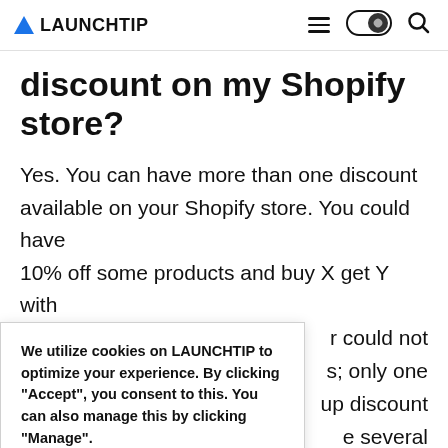▲ LAUNCHTIP
discount on my Shopify store?
Yes. You can have more than one discount available on your Shopify store. You could have 10% off some products and buy X get Y with [partially obscured] r could not [obscured] s; only one [obscured] up discount [obscured] e several [obscured] ers such as a [obscured] et Y. These
We utilize cookies on LAUNCHTIP to optimize your experience. By clicking "Accept", you consent to this. You can also manage this by clicking "Manage".